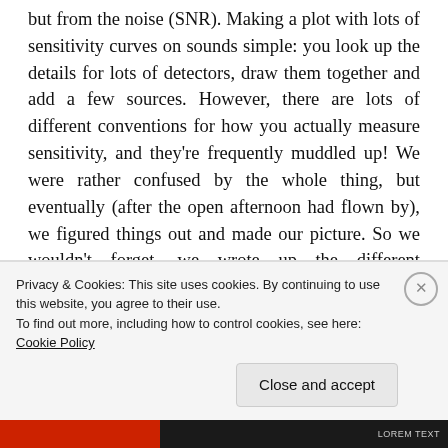but from the noise (SNR). Making a plot with lots of sensitivity curves on sounds simple: you look up the details for lots of detectors, draw them together and add a few sources. However, there are lots of different conventions for how you actually measure sensitivity, and they're frequently muddled up! We were rather confused by the whole thing, but eventually (after the open afternoon had flown by), we figured things out and made our picture. So we wouldn't forget, we wrote up the different conventions, why you might want to use each, and how to convert between them; these notes became the paper. We also thought it would be handy to
Privacy & Cookies: This site uses cookies. By continuing to use this website, you agree to their use.
To find out more, including how to control cookies, see here: Cookie Policy
Close and accept